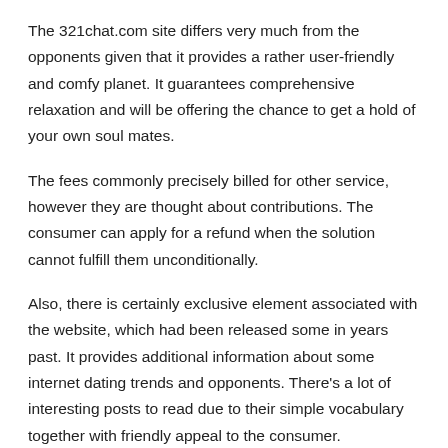The 321chat.com site differs very much from the opponents given that it provides a rather user-friendly and comfy planet. It guarantees comprehensive relaxation and will be offering the chance to get a hold of your own soul mates.
The fees commonly precisely billed for other service, however they are thought about contributions. The consumer can apply for a refund when the solution cannot fulfill them unconditionally.
Also, there is certainly exclusive element associated with the website, which had been released some in years past. It provides additional information about some internet dating trends and opponents. There’s a lot of interesting posts to read due to their simple vocabulary together with friendly appeal to the consumer.
mate Search
The means of trying to find a possible spouse isn’t very difficult